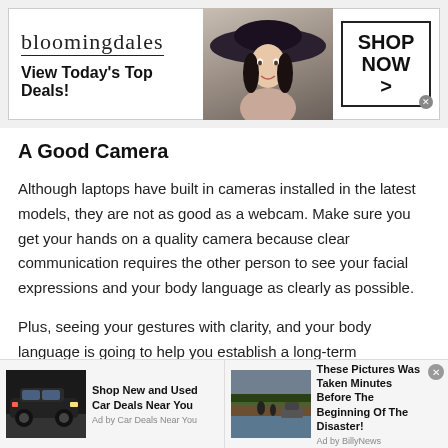[Figure (screenshot): Bloomingdales advertisement banner with logo, woman in hat, and 'SHOP NOW >' button]
A Good Camera
Although laptops have built in cameras installed in the latest models, they are not as good as a webcam. Make sure you get your hands on a quality camera because clear communication requires the other person to see your facial expressions and your body language as clearly as possible.
Plus, seeing your gestures with clarity, and your body language is going to help you establish a long-term
[Figure (screenshot): Bottom ad bar with two ads: 'Shop New and Used Car Deals Near You' by Car Deals Near You, and 'These Pictures Was Taken Minutes Before The Beginning Of The Disaster!' by BillyNews]